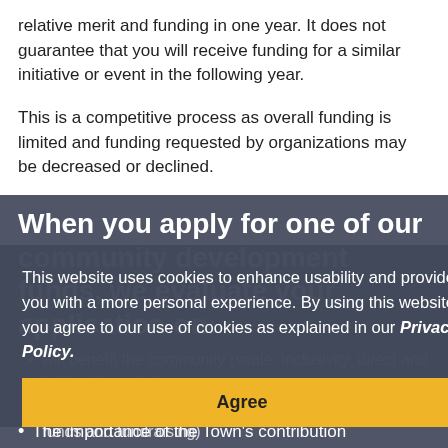relative merit and funding in one year. It does not guarantee that you will receive funding for a similar initiative or event in the following year.
This is a competitive process as overall funding is limited and funding requested by organizations may be decreased or declined.
When you apply for one of our community development funds, we evaluate your application on:
will benefit the community (scale, inclusivity, direct and indirect benefits)
Soundness of business plan (including resources, own funds and fundraising)
This website uses cookies to enhance usability and provide you with a more personal experience. By using this website, you agree to our use of cookies as explained in our Privacy Policy.
The importance of the Town's contribution